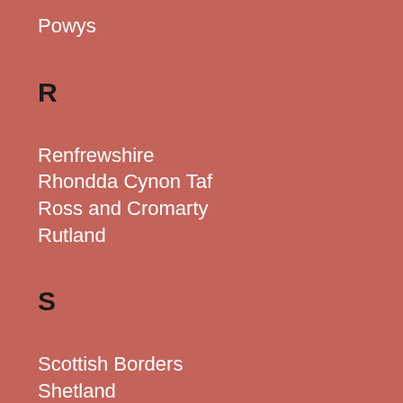Powys
R
Renfrewshire
Rhondda Cynon Taf
Ross and Cromarty
Rutland
S
Scottish Borders
Shetland
Shropshire
Somerset